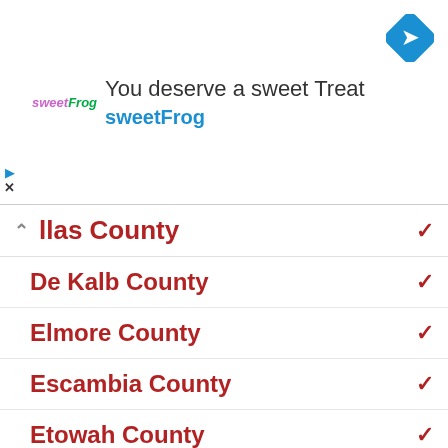[Figure (screenshot): sweetFrog advertisement banner with logo, 'You deserve a sweet Treat' headline, sweetFrog brand name in blue, navigation icon top right, play/close controls bottom left]
llas County (partially visible, expanded)
De Kalb County
Elmore County
Escambia County
Etowah County
Fayette County
Franklin County
Geneva County
Greene County
Hale County